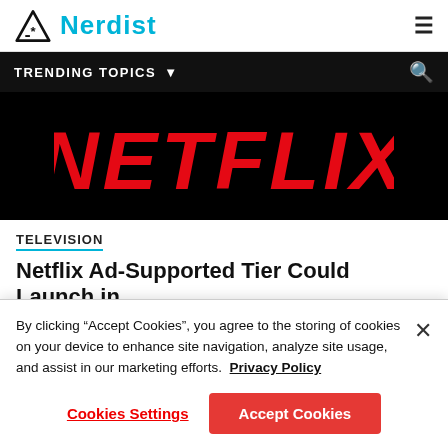Nerdist
TRENDING TOPICS
[Figure (photo): Netflix logo in large red letters on a black background]
TELEVISION
Netflix Ad-Supported Tier Could Launch in
By clicking “Accept Cookies”, you agree to the storing of cookies on your device to enhance site navigation, analyze site usage, and assist in our marketing efforts.  Privacy Policy
Cookies Settings  Accept Cookies